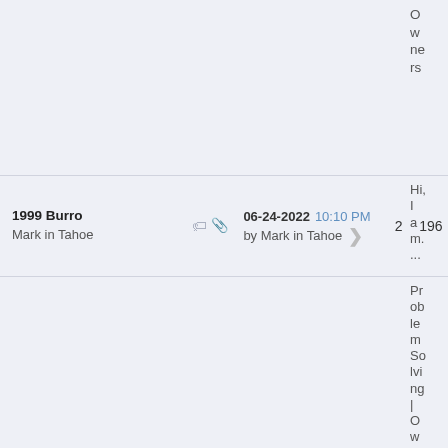| Topic |  | Last Post | Replies | Views | Category |
| --- | --- | --- | --- | --- | --- |
| 1999 Burro
Mark in Tahoe |  | 06-24-2022 10:10 PM
by Mark in Tahoe | 2 | 196 | Hi, I am.... |
| Burro windows
LuckyPenny |  | 06-13-2022 05:56 PM
by LuckyPenny | 0 | 194 | Problem Solving | Owners Help... |